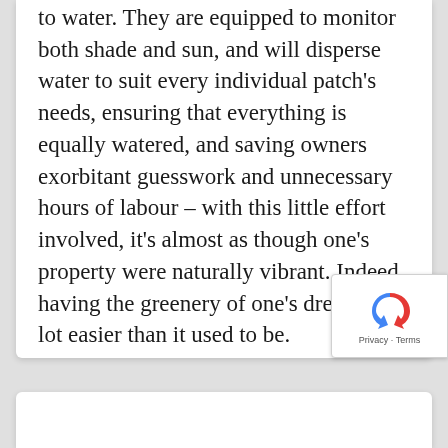to water. They are equipped to monitor both shade and sun, and will disperse water to suit every individual patch's needs, ensuring that everything is equally watered, and saving owners exorbitant guesswork and unnecessary hours of labour – with this little effort involved, it's almost as though one's property were naturally vibrant. Indeed, having the greenery of one's dreams is a lot easier than it used to be.